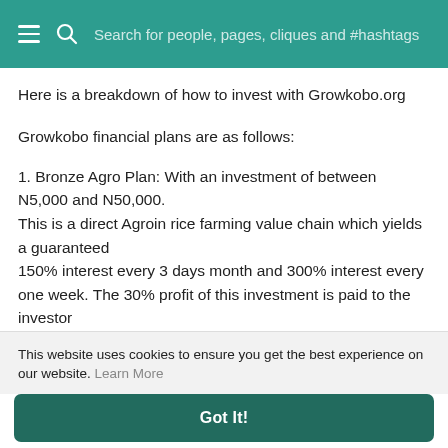Search for people, pages, cliques and #hashtags
Here is a breakdown of how to invest with Growkobo.org
Growkobo financial plans are as follows:
1. Bronze Agro Plan: With an investment of between N5,000 and N50,000.
This is a direct Agroin rice farming value chain which yields a guaranteed
150% interest every 3 days month and 300% interest every one week. The 30% profit of this investment is paid to the investor
This website uses cookies to ensure you get the best experience on our website. Learn More
Got It!